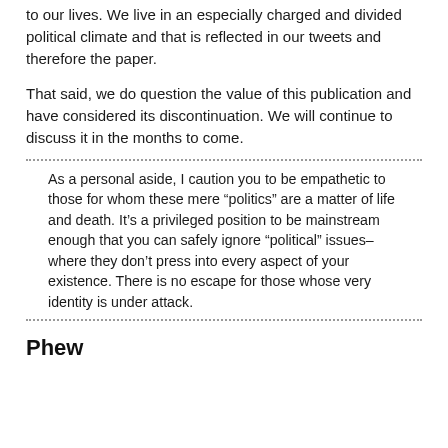to our lives. We live in an especially charged and divided political climate and that is reflected in our tweets and therefore the paper.
That said, we do question the value of this publication and have considered its discontinuation. We will continue to discuss it in the months to come.
As a personal aside, I caution you to be empathetic to those for whom these mere “politics” are a matter of life and death. It’s a privileged position to be mainstream enough that you can safely ignore “political” issues– where they don’t press into every aspect of your existence. There is no escape for those whose very identity is under attack.
Phew